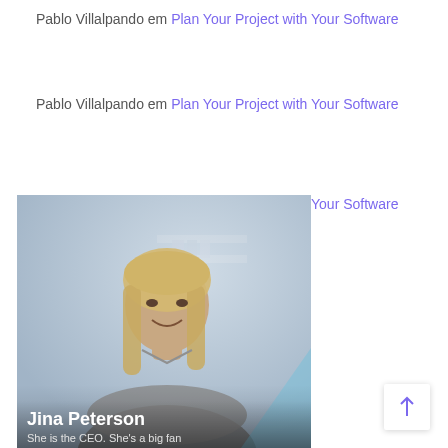Pablo Villalpando em Plan Your Project with Your Software
Pablo Villalpando em Plan Your Project with Your Software
Pablo Villalpando em Plan Your Project with Your Software
[Figure (photo): Photo of Jina Peterson, a smiling woman with long blonde hair, arms crossed, in an office environment. Blue accent shape in bottom right. Text overlay: 'Jina Peterson' and 'She is the CEO. She's a big fan']
She is the CEO. She's a big fan